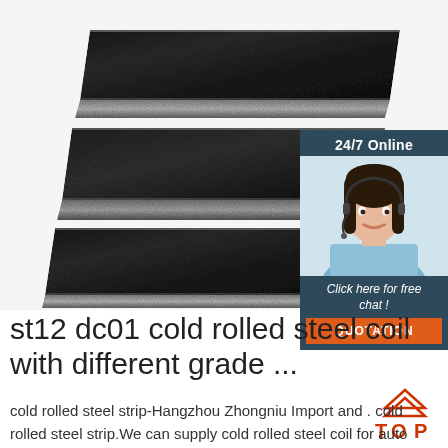[Figure (photo): Two dark cold rolled steel plates/strips stacked at an angle on a white background, showing their metallic texture and edges.]
[Figure (infographic): Chat widget overlay with '24/7 Online' header, photo of a female customer service representative wearing a headset, 'Click here for free chat!' text, and an orange QUOTATION button.]
st12 dc01 cold rolled steel coil with different grade ...
cold rolled steel strip-Hangzhou Zhongniu Import and . cold rolled steel strip.We can supply cold rolled steel coil for auto vehicle,commercial